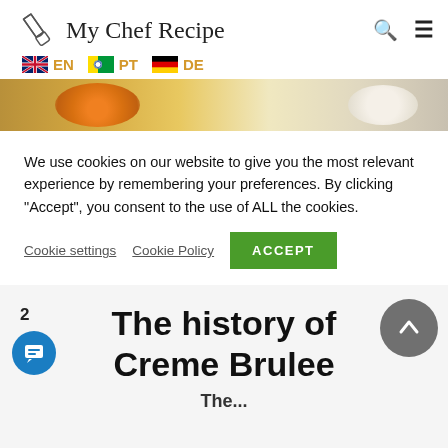My Chef Recipe — EN PT DE
[Figure (photo): Partial hero photo showing eggs and cream in bowls, cropped at top of cookie banner]
We use cookies on our website to give you the most relevant experience by remembering your preferences. By clicking "Accept", you consent to the use of ALL the cookies.
Cookie settings  Cookie Policy  ACCEPT
The history of Creme Brulee
The...